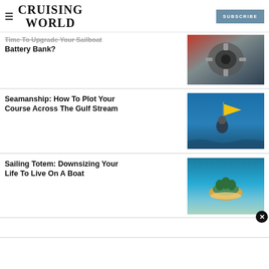CRUISING WORLD | SUBSCRIBE
Time To Upgrade Your Sailboat Battery Bank?
[Figure (photo): Close-up of a marine engine, mechanical components in red and grey tones]
Seamanship: How To Plot Your Course Across The Gulf Stream
[Figure (photo): Person on a sailboat deck with a yellow flag, ocean in background]
Sailing Totem: Downsizing Your Life To Live On A Boat
[Figure (photo): Aerial view of a small tropical island surrounded by turquoise water]